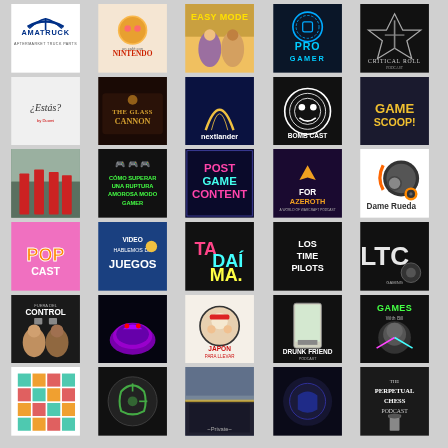[Figure (logo): Amatruck Aftermarket Truck Parts logo - blue wings and text on white background]
[Figure (logo): Un Café con Nintendo podcast logo - cartoon donut/teacup character with Nintendo text]
[Figure (logo): Easy Mode podcast logo - illustrated characters with yellow title text]
[Figure (logo): Pro Gamer podcast logo - blue neon style with controller icon]
[Figure (logo): Critical Roll Podcast logo - sword/cross emblem on dark background]
[Figure (logo): ¿Estás? by Duomi - minimalist logo on light background]
[Figure (logo): The Glass Cannon podcast logo - dark vintage style]
[Figure (logo): Nextlander podcast logo - dark background with arch symbol]
[Figure (logo): Bombcast podcast logo - black and white smiley face]
[Figure (logo): Game Scoop! podcast logo - gold text on dark background]
[Figure (photo): Photo of people in red robes/graduation attire outdoors]
[Figure (logo): Cómo Superar Una Ruptura Amorosa Modo Gamer - dark background green text]
[Figure (logo): Post Game Content podcast logo - blue pixel art style]
[Figure (logo): For Azeroth - A World of Warcraft Podcast logo - dark purple]
[Figure (logo): Dame Rueda podcast logo - tire with flame character]
[Figure (logo): Pop Cast podcast logo - pink and orange colorful text]
[Figure (logo): Video Hablemos de Juegos podcast logo - blue background]
[Figure (logo): Ta Dai Ma podcast logo - dark neon colorful letters]
[Figure (logo): Los Time Pilots podcast logo - black background white text]
[Figure (logo): LTC Gaming podcast logo - white text on dark background with bowling ball]
[Figure (logo): Fuera del Control podcast logo - cartoon characters with controllers]
[Figure (logo): Dark background podcast logo with purple creature/fish]
[Figure (logo): Japón Para Llevar podcast logo - kawaii character with red headphones]
[Figure (logo): Drunk Friend podcast logo - beer glass with city skyline]
[Figure (logo): Games With Bill podcast logo - man with neon laser graphics]
[Figure (logo): Colorful tile/mosaic grid logo on white]
[Figure (logo): Dark circular logo with stylized face/mask]
[Figure (photo): Photo of a sunset at a track/stadium]
[Figure (logo): Dark abstract podcast logo]
[Figure (logo): The Perpetual Chess Podcast logo - chess piece on dark background]